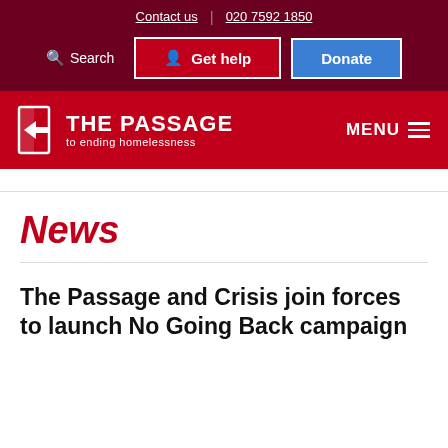Contact us  020 7592 1850
Search  Get help  Donate
THE PASSAGE to ending homelessness
News
The Passage and Crisis join forces to launch No Going Back campaign